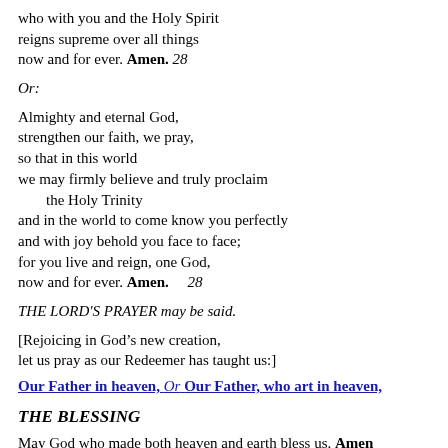who with you and the Holy Spirit reigns supreme over all things now and for ever. Amen. 28
Or:
Almighty and eternal God,
strengthen our faith, we pray,
so that in this world
we may firmly believe and truly proclaim
   the Holy Trinity
and in the world to come know you perfectly
and with joy behold you face to face;
for you live and reign, one God,
now and for ever. Amen.      28
THE LORD'S PRAYER may be said.
[Rejoicing in God's new creation,
let us pray as our Redeemer has taught us:]
Our Father in heaven, Or Our Father, who art in heaven,
THE BLESSING
May God who made both heaven and earth bless us. Amen